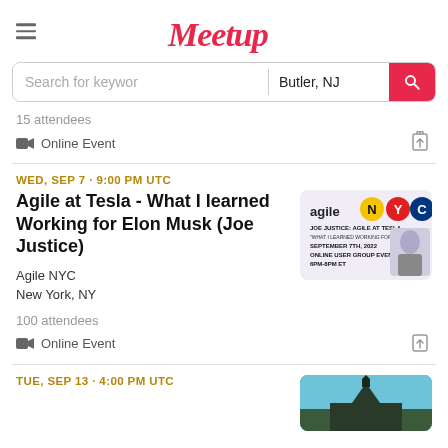Meetup
Search for keywords | Butler, NJ
15 attendees
🎥 Online Event
WED, SEP 7 · 9:00 PM UTC
Agile at Tesla - What I learned Working for Elon Musk (Joe Justice)
Agile NYC
New York, NY
[Figure (other): Agile NYC event card showing 'agile NYC' logo with N and Y in yellow and red circles and C in blue circle, event title JOE JUSTICE: AGILE AT TESLA, September 7th 2022, Online User Group Event, 6PM-8PM ET, with photo of speaker]
100 attendees
🎥 Online Event
TUE, SEP 13 · 4:00 PM UTC
[Figure (photo): Partial thumbnail of a church or building with a steeple against a blue sky]